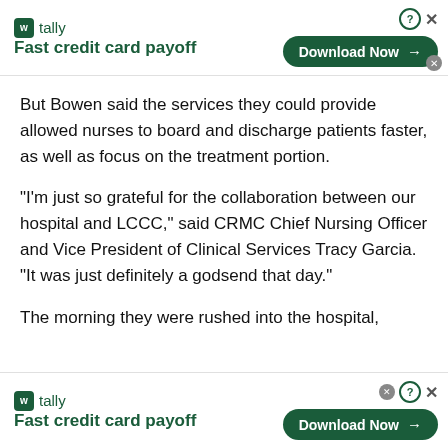[Figure (infographic): Tally app advertisement banner at top. Shows Tally logo with green icon and 'w tally / Fast credit card payoff' on the left, and a 'Download Now →' button with question mark and X icons on the right.]
But Bowen said the services they could provide allowed nurses to board and discharge patients faster, as well as focus on the treatment portion.
“I’m just so grateful for the collaboration between our hospital and LCCC,” said CRMC Chief Nursing Officer and Vice President of Clinical Services Tracy Garcia. “It was just definitely a godsend that day.”
The morning they were rushed into the hospital,
[Figure (infographic): Tally app advertisement banner at bottom. Same as top banner: Tally logo with green icon and 'w tally / Fast credit card payoff' on the left, and a 'Download Now →' button with question mark, X icons, and a small close circle on the right.]